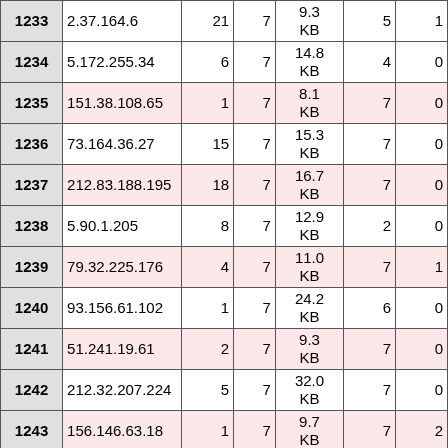| ID | IP | Col3 | Col4 | Size | Col6 | Col7 |
| --- | --- | --- | --- | --- | --- | --- |
| 1233 | 2.37.164.6 | 21 | 7 | 9.3 KB | 5 | 1 |
| 1234 | 5.172.255.34 | 6 | 7 | 14.8 KB | 4 | 0 |
| 1235 | 151.38.108.65 | 1 | 7 | 8.1 KB | 7 | 0 |
| 1236 | 73.164.36.27 | 15 | 7 | 15.3 KB | 7 | 0 |
| 1237 | 212.83.188.195 | 18 | 7 | 16.7 KB | 7 | 0 |
| 1238 | 5.90.1.205 | 8 | 7 | 12.9 KB | 2 | 0 |
| 1239 | 79.32.225.176 | 4 | 7 | 11.0 KB | 7 | 1 |
| 1240 | 93.156.61.102 | 1 | 7 | 24.2 KB | 6 | 0 |
| 1241 | 51.241.19.61 | 2 | 7 | 9.3 KB | 7 | 0 |
| 1242 | 212.32.207.224 | 5 | 7 | 32.0 KB | 7 | 0 |
| 1243 | 156.146.63.18 | 1 | 7 | 9.7 KB | 7 | 2 |